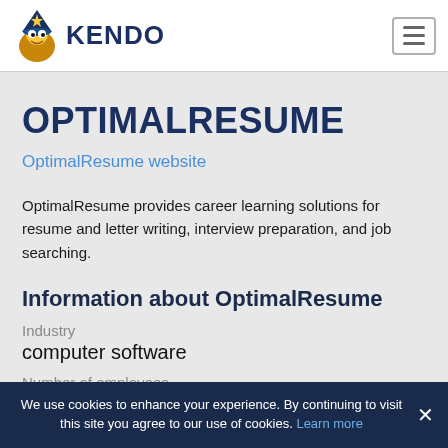KENDO
OPTIMALRESUME
OptimalResume website
OptimalResume provides career learning solutions for resume and letter writing, interview preparation, and job searching.
Information about OptimalResume
Industry
computer software
Number of employees
11-50
We use cookies to enhance your experience. By continuing to visit this site you agree to our use of cookies. Learn more